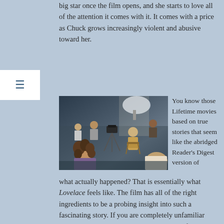big star once the film opens, and she starts to love all of the attention it comes with it. It comes with a price as Chuck grows increasingly violent and abusive toward her.
[Figure (photo): A behind-the-scenes film set photo showing a group of people including a woman with curly hair in the foreground, a man in a tan suit seated on a director's chair, a camera on a tripod, and several other cast or crew members in the background under studio lighting.]
You know those Lifetime movies based on true stories that seem like the abridged Reader's Digest version of what actually happened? That is essentially what Lovelace feels like. The film has all of the right ingredients to be a probing insight into such a fascinating story. If you are completely unfamiliar with this story, this is a good introduction. If you have seen the documentary Inside Deep Throat, you know there is so much more to this story. The documentary focuses on the filming of Deep Throat and the impact it had on pop